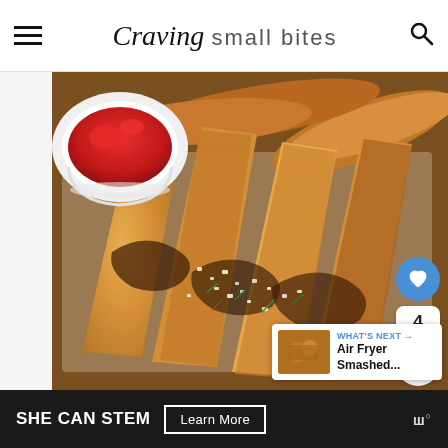Craving small bites
[Figure (photo): Close-up photo of golden brown crispy potato wedges seasoned with parmesan and herbs, served with ketchup in a white bowl on the upper left. Social sharing buttons (heart, count '4', share) on the right side. A 'What's Next' preview card shows 'Air Fryer Smashed...' in the bottom right corner.]
SHE CAN STEM Learn More